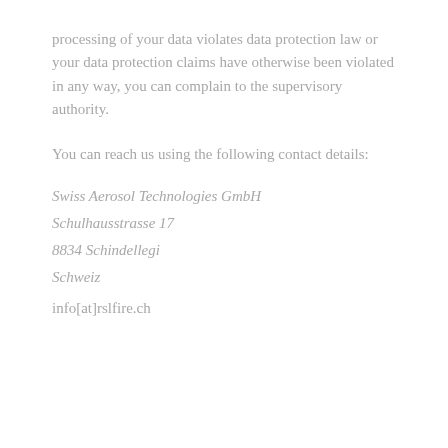processing of your data violates data protection law or your data protection claims have otherwise been violated in any way, you can complain to the supervisory authority.
You can reach us using the following contact details:
Swiss Aerosol Technologies GmbH
Schulhausstrasse 17
8834 Schindellegi
Schweiz
info[at]rslfire.ch